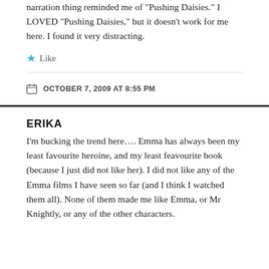narration thing reminded me of “Pushing Daisies.” I LOVED “Pushing Daisies,” but it doesn’t work for me here. I found it very distracting.
★ Like
OCTOBER 7, 2009 AT 8:55 PM
ERIKA
I’m bucking the trend here…. Emma has always been my least favourite heroine, and my least feavourite book (because I just did not like her). I did not like any of the Emma films I have seen so far (and I think I watched them all). None of them made me like Emma, or Mr Knightly, or any of the other characters.